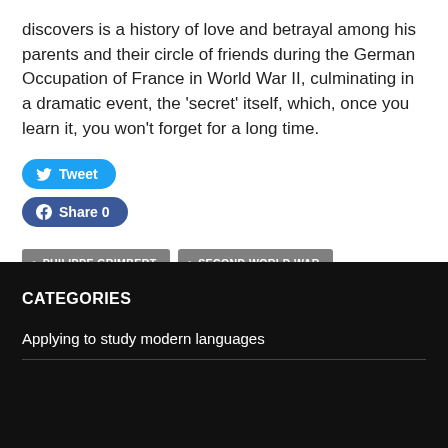discovers is a history of love and betrayal among his parents and their circle of friends during the German Occupation of France in World War II, culminating in a dramatic event, the 'secret' itself, which, once you learn it, you won't forget for a long time.
[Figure (other): Tweet button (blue rounded rectangle with Twitter bird icon) and Share 0 button (dark blue rounded rectangle with Facebook icon)]
PHILIPPE GRIMBERT
SECOND WORLD WAR
UN SECRET
CATEGORIES
Applying to study modern languages